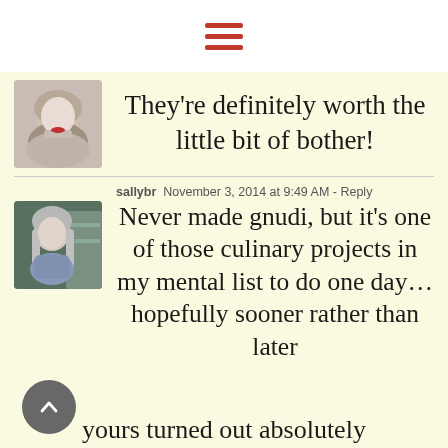[Figure (other): Hamburger menu icon — three horizontal red bars]
[Figure (photo): Avatar photo of a woman with short blonde/grey hair and red lipstick]
They're definitely worth the little bit of bother!
[Figure (photo): Avatar photo of a woman with long grey/white hair]
sallybr  November 3, 2014 at 9:49 AM - Reply
Never made gnudi, but it's one of those culinary projects in my mental list to do one day… hopefully sooner rather than later
[Figure (other): Scroll-to-top circular button with chevron up arrow]
yours turned out absolutely